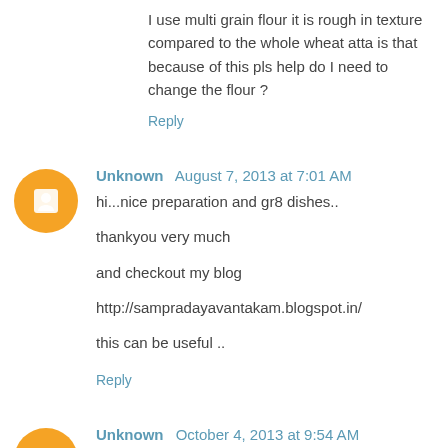I use multi grain flour it is rough in texture compared to the whole wheat atta is that because of this pls help do I need to change the flour ?
Reply
Unknown  August 7, 2013 at 7:01 AM
hi...nice preparation and gr8 dishes..

thankyou very much

and checkout my blog

http://sampradayavantakam.blogspot.in/

this can be useful ..
Reply
Unknown  October 4, 2013 at 9:54 AM
Well this blog is really interesting, procedural steps for